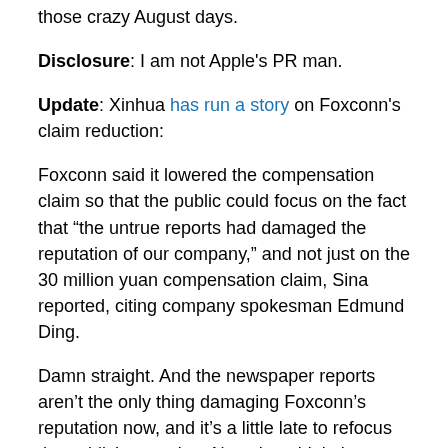those crazy August days.
Disclosure: I am not Apple's PR man.
Update: Xinhua has run a story on Foxconn's claim reduction:
Foxconn said it lowered the compensation claim so that the public could focus on the fact that “the untrue reports had damaged the reputation of our company,” and not just on the 30 million yuan compensation claim, Sina reported, citing company spokesman Edmund Ding.
Damn straight. And the newspaper reports aren’t the only thing damaging Foxconn’s reputation now, and it’s a little late to refocus the public’s attention. Next they think they have been libeled, they can sue the newspaper. Then, if they win, the newspaper can discipline the reporters and it